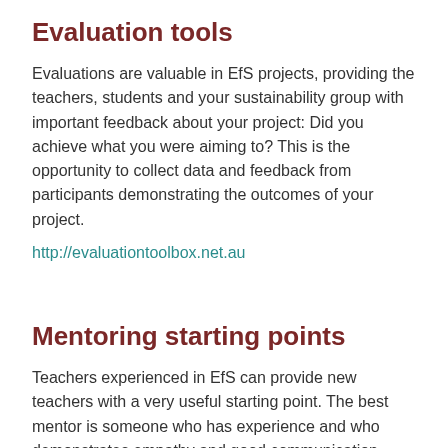Evaluation tools
Evaluations are valuable in EfS projects, providing the teachers, students and your sustainability group with important feedback about your project: Did you achieve what you were aiming to? This is the opportunity to collect data and feedback from participants demonstrating the outcomes of your project.
http://evaluationtoolbox.net.au
Mentoring starting points
Teachers experienced in EfS can provide new teachers with a very useful starting point. The best mentor is someone who has experience and who demonstrates empathy and good communication skills, including the ability to listen. Mentoring can be very valuable for teachers working in a school where there is little support for sustainability, as it